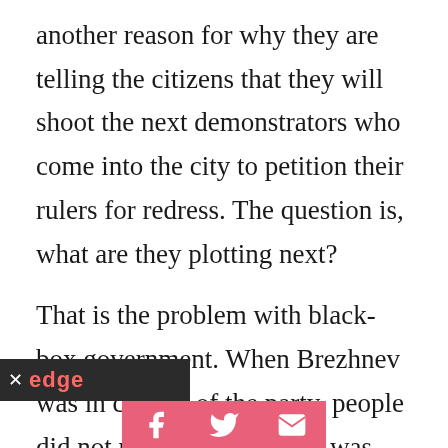another reason for why they are telling the citizens that they will shoot the next demonstrators who come into the city to petition their rulers for redress. The question is, what are they plotting next?

That is the problem with black-box government. When Brezhnev was in control of the party, people did not need to know what was going inside the Kremlin, because the Kremlin was predictable. It is why Russians who remember those days look back fondly on those times. It was a time relatively free of politics. They woke up every day knowing the rules were